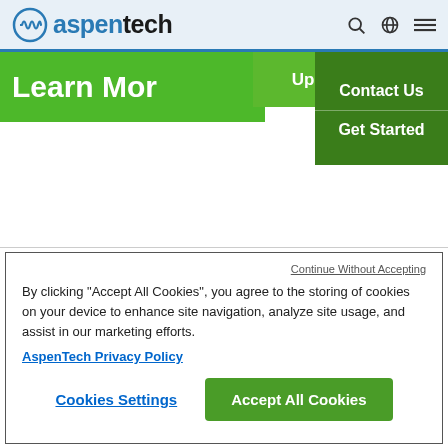[Figure (logo): Aspentech logo with blue circle icon and stylized waveform, followed by 'aspentech' text in blue and black]
Learn Mor
Upgrade Now
Contact Us
Get Started
Continue Without Accepting
By clicking “Accept All Cookies”, you agree to the storing of cookies on your device to enhance site navigation, analyze site usage, and assist in our marketing efforts.
AspenTech Privacy Policy
Cookies Settings
Accept All Cookies